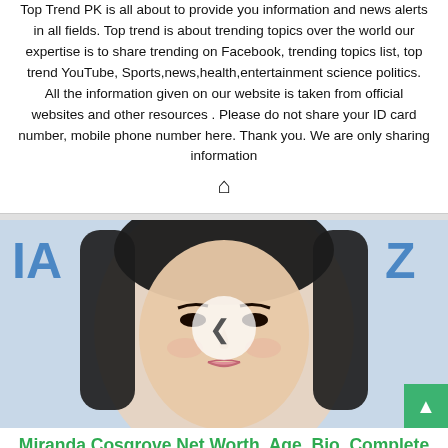Top Trend PK is all about to provide you information and news alerts in all fields. Top trend is about trending topics over the world our expertise is to share trending on Facebook, trending topics list, top trend YouTube, Sports,news,health,entertainment science politics. All the information given on our website is taken from official websites and other resources . Please do not share your ID card number, mobile phone number here. Thank you. We are only sharing information
[Figure (photo): Photo of a young woman with long dark hair and light skin, smiling. Blue text 'IA' visible on left background and 'Z' on right. A carousel left-arrow navigation button overlaid in center.]
Miranda Cosgrove Net Worth, Age, Bio, Complete Profile 2020